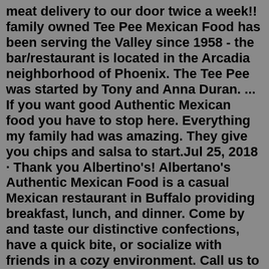meat delivery to our door twice a week!! family owned Tee Pee Mexican Food has been serving the Valley since 1958 - the bar/restaurant is located in the Arcadia neighborhood of Phoenix. The Tee Pee was started by Tony and Anna Duran. ... If you want good Authentic Mexican food you have to stop here. Everything my family had was amazing. They give you chips and salsa to start.Jul 25, 2018 · Thank you Albertino's! Albertano's Authentic Mexican Food is a casual Mexican restaurant in Buffalo providing breakfast, lunch, and dinner. Come by and taste our distinctive confections, have a quick bite, or socialize with friends in a cozy environment. Call us to inquire about reservations, catering, or takeout. Tequila's Mexican Grill & Cantina. 211 reviews Closes in 29 min. Mexican, Southwestern $$ - $$$. "Great salsa ". "While sitting at our table in Tequila, I tried to check their reviews.". 9. Casa Tina Mexican. 1,151 reviews Closes in 29 min. Mexican, Latin $$ - $$$ Menu.